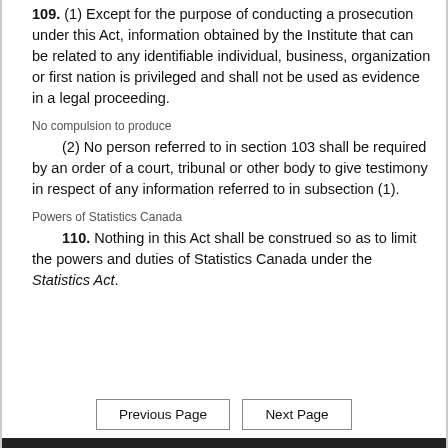109. (1) Except for the purpose of conducting a prosecution under this Act, information obtained by the Institute that can be related to any identifiable individual, business, organization or first nation is privileged and shall not be used as evidence in a legal proceeding.
No compulsion to produce
(2) No person referred to in section 103 shall be required by an order of a court, tribunal or other body to give testimony in respect of any information referred to in subsection (1).
Powers of Statistics Canada
110. Nothing in this Act shall be construed so as to limit the powers and duties of Statistics Canada under the Statistics Act.
Previous Page  Next Page